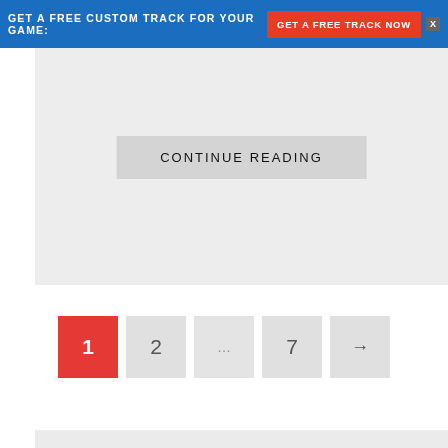[Figure (screenshot): Blue advertisement banner with text 'GET A FREE CUSTOM TRACK FOR YOUR GAME:' and a red button 'GET A FREE TRACK NOW' with an X close button]
[Figure (screenshot): Gray content card with a 'CONTINUE READING' button]
[Figure (screenshot): Pagination controls showing page buttons: 1 (active, red), 2, ellipsis, 7, and next arrow]
[Figure (screenshot): Search box with placeholder text 'Enter keyword to search...' and a search icon, on gray background]
[Figure (screenshot): Partial gray card at the bottom of the page]